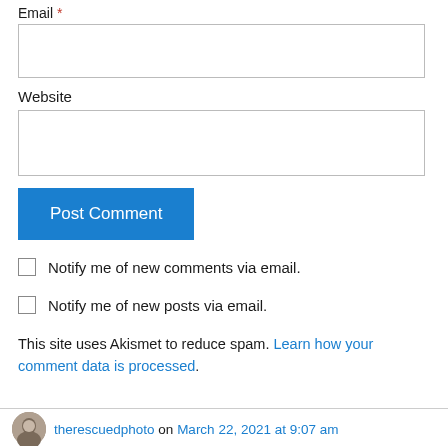Email *
Website
Post Comment
Notify me of new comments via email.
Notify me of new posts via email.
This site uses Akismet to reduce spam. Learn how your comment data is processed.
therescuedphoto on March 22, 2021 at 9:07 am